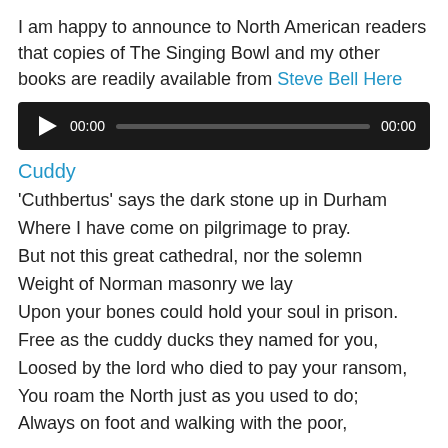I am happy to announce to North American readers that copies of The Singing Bowl and my other books are readily available from Steve Bell Here
[Figure (other): Audio player widget with play button, time display 00:00, progress bar, and end time 00:00 on dark background]
Cuddy
'Cuthbertus' says the dark stone up in Durham
Where I have come on pilgrimage to pray.
But not this great cathedral, nor the solemn
Weight of Norman masonry we lay
Upon your bones could hold your soul in prison.
Free as the cuddy ducks they named for you,
Loosed by the lord who died to pay your ransom,
You roam the North just as you used to do;
Always on foot and walking with the poor,